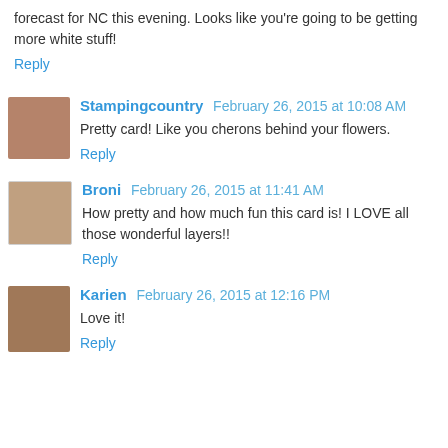forecast for NC this evening. Looks like you're going to be getting more white stuff!
Reply
Stampingcountry February 26, 2015 at 10:08 AM
Pretty card! Like you cherons behind your flowers.
Reply
Broni February 26, 2015 at 11:41 AM
How pretty and how much fun this card is! I LOVE all those wonderful layers!!
Reply
Karien February 26, 2015 at 12:16 PM
Love it!
Reply